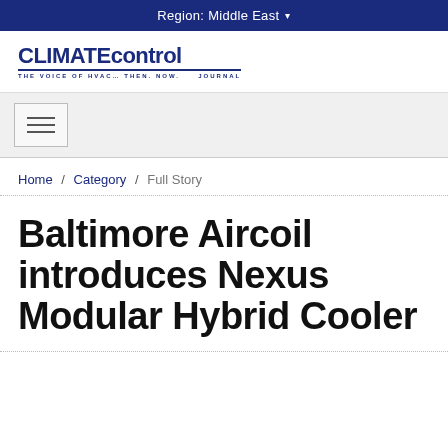Region: Middle East
[Figure (logo): Climate Control Journal logo — bold text 'CLIMATEcontrol JOURNAL' with blue styling and tagline]
[Figure (other): Hamburger menu navigation button with three horizontal bars]
Home / Category / Full Story
Baltimore Aircoil introduces Nexus Modular Hybrid Cooler